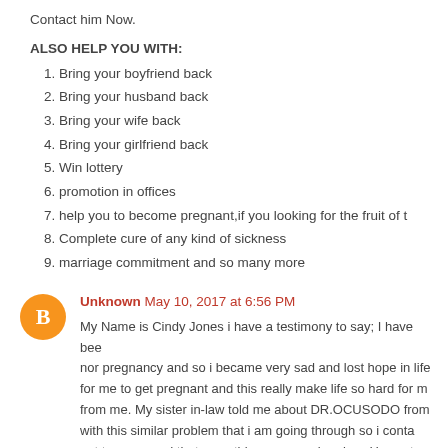Contact him Now.
ALSO HELP YOU WITH:
1. Bring your boyfriend back
2. Bring your husband back
3. Bring your wife back
4. Bring your girlfriend back
5. Win lottery
6. promotion in offices
7. help you to become pregnant,if you looking for the fruit of t
8. Complete cure of any kind of sickness
9. marriage commitment and so many more
Unknown May 10, 2017 at 6:56 PM
My Name is Cindy Jones i have a testimony to say; I have bee nor pregnancy and so i became very sad and lost hope in life for me to get pregnant and this really make life so hard for m from me. My sister in-law told me about DR.OCUSODO from with this similar problem that i am going through so i conta not to worry and that everything we soon be okay. He cast a surprise three days later my husband came back to apologize ready to support me in any thing i want,few months later i e we are now a happy family. Thanks to DR.OCUSODO for sa others too. continue your good work, If you are interested to c EMAIL him at drocusodospellcaster@gmail or drocusodospe